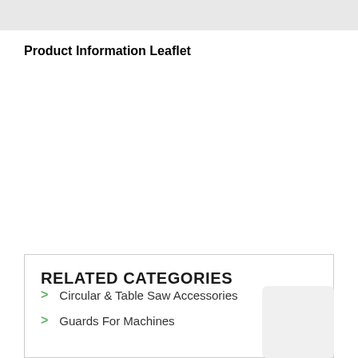Product Information Leaflet
RELATED CATEGORIES
Circular & Table Saw Accessories
Guards For Machines